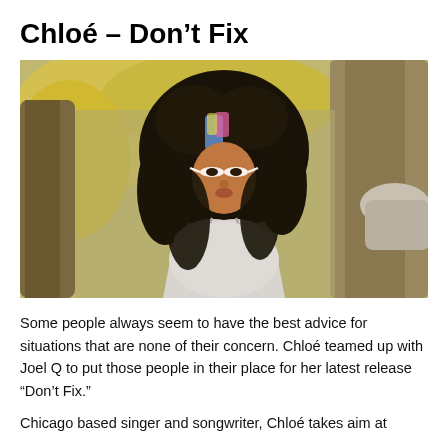Chloé – Don't Fix
[Figure (photo): A Black woman with long curly dark hair and dramatic makeup including white eye makeup and colorful face paint on her forehead, wearing a white off-shoulder top, standing outdoors near a large tree with yellow foliage in the background.]
Some people always seem to have the best advice for situations that are none of their concern. Chloé teamed up with Joel Q to put those people in their place for her latest release “Don’t Fix.”
Chicago based singer and songwriter, Chloé takes aim at